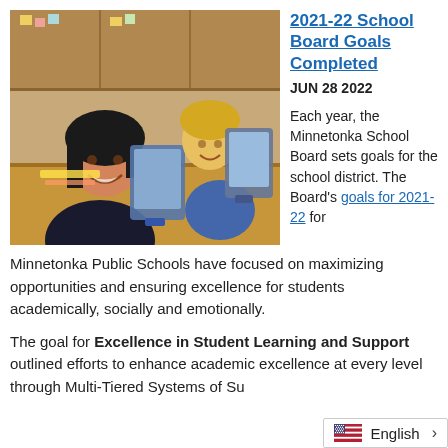[Figure (photo): Two young girls sitting at school desks, smiling, each with a tablet device propped up in front of them. Classroom background with wooden cabinets.]
2021-22 School Board Goals Completed
JUN 28 2022
Each year, the Minnetonka School Board sets goals for the school district. The Board's goals for 2021-22 for Minnetonka Public Schools have focused on maximizing opportunities and ensuring excellence for students academically, socially and emotionally.
The goal for Excellence in Student Learning and Support outlined efforts to enhance academic excellence at every level through Multi-Tiered Systems of Su...